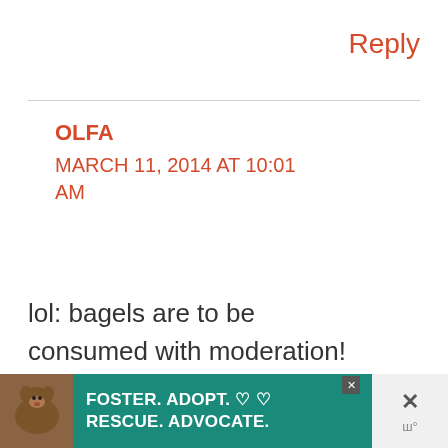Reply
OLFA
MARCH 11, 2014 AT 10:01 AM
lol: bagels are to be consumed with moderation! toasted onion bagel: sounds delicious
[Figure (other): Share button icon — circular white button with share symbol]
[Figure (other): Advertisement banner: dog photo on left, teal background with white bold text reading FOSTER. ADOPT. RESCUE. ADVOCATE. with heart icons and a close button]